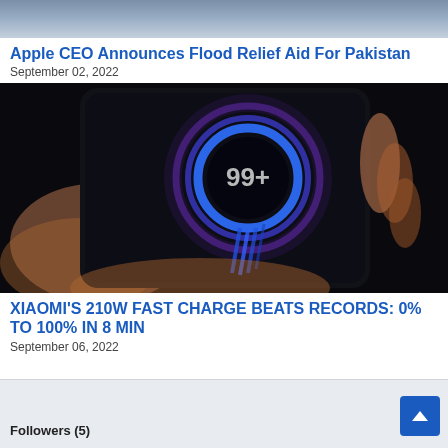[Figure (photo): Top portion of a photo showing a person in a blue shirt, cropped at the top of the page]
Apple CEO Announces Flood Relief Aid For Pakistan
September 02, 2022
[Figure (photo): A hand holding a smartphone displaying a wireless charging animation with a glowing blue circular MagSafe-style ring and '99+' text on a dark screen]
XIAOMI'S 210W FAST CHARGE BEATS RECORDS: 0% TO 100% IN 8 MIN
September 06, 2022
Followers (5)